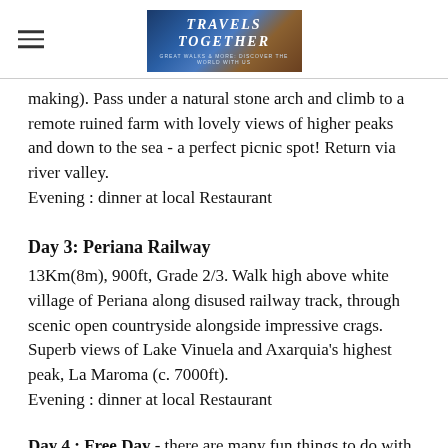Travels Together
making). Pass under a natural stone arch and climb to a remote ruined farm with lovely views of higher peaks and down to the sea - a perfect picnic spot! Return via river valley.
Evening : dinner at local Restaurant
Day 3: Periana Railway
13Km(8m), 900ft, Grade 2/3. Walk high above white village of Periana along disused railway track, through scenic open countryside alongside impressive crags. Superb views of Lake Vinuela and Axarquia's highest peak, La Maroma (c. 7000ft).
Evening : dinner at local Restaurant
Day 4 : Free Day - there are many fun things to do with your free day.  Our hosts can make great